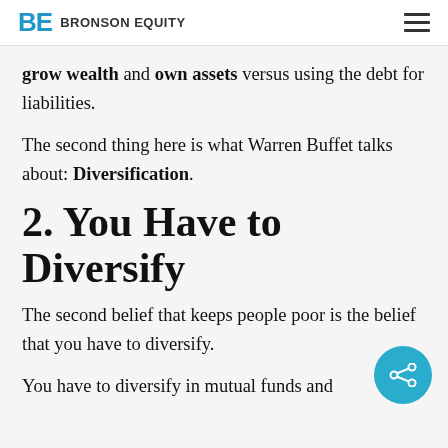BE BRONSON EQUITY
grow wealth and own assets versus using the debt for liabilities.
The second thing here is what Warren Buffet talks about: Diversification.
2. You Have to Diversify
The second belief that keeps people poor is the belief that you have to diversify.
You have to diversify in mutual funds and